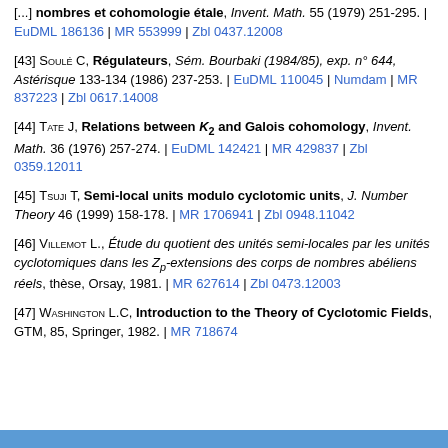[...] nombres et cohomologie étale, Invent. Math. 55 (1979) 251-295. | EuDML 186136 | MR 553999 | Zbl 0437.12008
[43] Soulé C, Régulateurs, Sém. Bourbaki (1984/85), exp. n° 644, Astérisque 133-134 (1986) 237-253. | EuDML 110045 | Numdam | MR 837223 | Zbl 0617.14008
[44] Tate J, Relations between K_2 and Galois cohomology, Invent. Math. 36 (1976) 257-274. | EuDML 142421 | MR 429837 | Zbl 0359.12011
[45] Tsuji T, Semi-local units modulo cyclotomic units, J. Number Theory 46 (1999) 158-178. | MR 1706941 | Zbl 0948.11042
[46] Villemot L., Étude du quotient des unités semi-locales par les unités cyclotomiques dans les Z_p-extensions des corps de nombres abéliens réels, thèse, Orsay, 1981. | MR 627614 | Zbl 0473.12003
[47] Washington L.C, Introduction to the Theory of Cyclotomic Fields, GTM, 85, Springer, 1982. | MR 718674